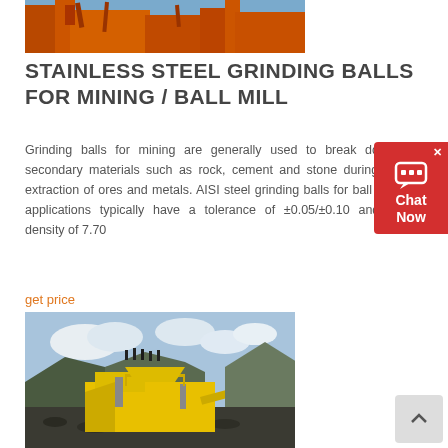[Figure (photo): Close-up photo of orange industrial mining/crushing equipment structure]
STAINLESS STEEL GRINDING BALLS FOR MINING / BALL MILL
Grinding balls for mining are generally used to break down secondary materials such as rock, cement and stone during the extraction of ores and metals. AISI steel grinding balls for ball mill applications typically have a tolerance of ±0.05/±0.10 and a density of 7.70
get price
[Figure (photo): Photo of a yellow mobile jaw crusher/screening plant on a mining site with workers standing on a rock mound in the background under cloudy sky]